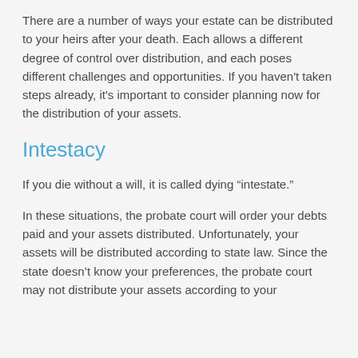There are a number of ways your estate can be distributed to your heirs after your death. Each allows a different degree of control over distribution, and each poses different challenges and opportunities. If you haven't taken steps already, it's important to consider planning now for the distribution of your assets.
Intestacy
If you die without a will, it is called dying “intestate.”
In these situations, the probate court will order your debts paid and your assets distributed. Unfortunately, your assets will be distributed according to state law. Since the state doesn’t know your preferences, the probate court may not distribute your assets according to your